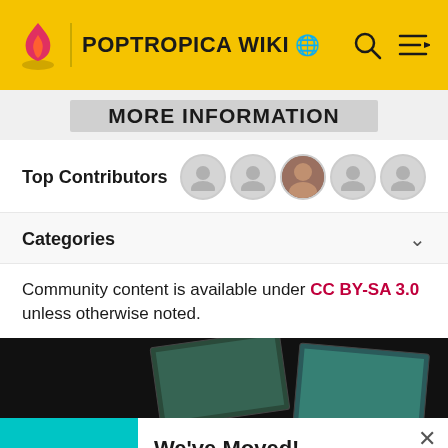POPTROPICA WIKI
MORE INFORMATION
Top Contributors
Categories
Community content is available under CC BY-SA 3.0 unless otherwise noted.
[Figure (screenshot): Dark banner with two tilted game screenshots on dark background]
[Figure (illustration): Teal background with green cartoon monster character]
We've Moved! Just as Gamepedia has joined forces with Fandom, this wiki has joined forces with our Fandom equivalent. The wiki has been archived and we ask that readers and editors move to the now combined wiki on Fandom.
GO TO NEW WIKI →